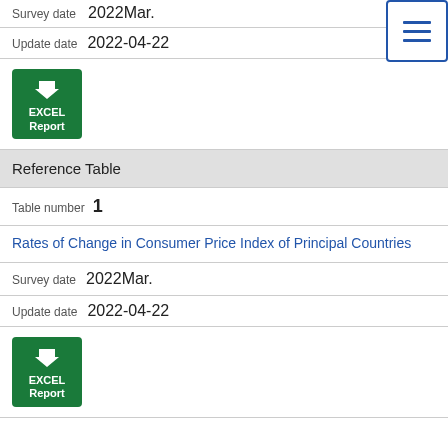Survey date  2022Mar.
Update date  2022-04-22
[Figure (other): Green EXCEL Report download button with down arrow icon]
Reference Table
Table number 1
Rates of Change in Consumer Price Index of Principal Countries
Survey date  2022Mar.
Update date  2022-04-22
[Figure (other): Green EXCEL Report download button with down arrow icon]